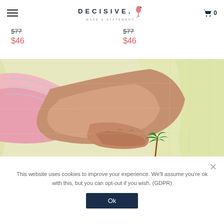DECISIVE. MAKE A STATEMENT — navigation header with logo, hamburger menu, and cart icon showing 0
$77 (strikethrough) | $77 (strikethrough)
$46 (sale price) | $46 (sale price)
[Figure (photo): Close-up photo of a person wearing a light yellow linen shirt with a small embroidered palm tree design, and a pink shirt underneath. The background is a light blue sky.]
This website uses cookies to improve your experience. We'll assume you're ok with this, but you can opt-out if you wish. (GDPR)